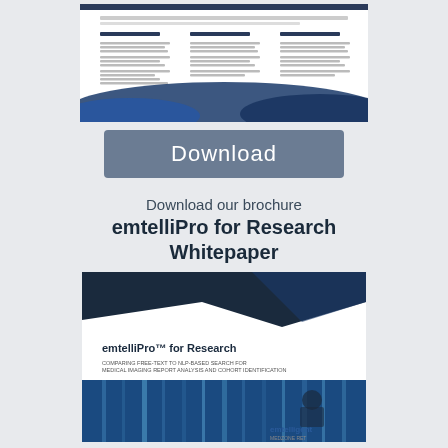[Figure (illustration): Thumbnail of an emtelliPro brochure page showing sections for Radiology, Cardiology, and Pathology with bullet points and blue wave design at the bottom]
[Figure (other): Download button — grey rounded rectangle with white text 'Download']
Download our brochure
emtelliPro for Research Whitepaper
[Figure (illustration): Cover of the emtelliPro for Research Whitepaper brochure, showing title 'emtelliPro™ for Research', subtitle 'COMPARING FREE-TEXT TO NLP-BASED SEARCH FOR MEDICAL IMAGING REPORT ANALYSIS AND COHORT IDENTIFICATION', a photo of a man in a data center, and the emtelligent logo at the bottom right]